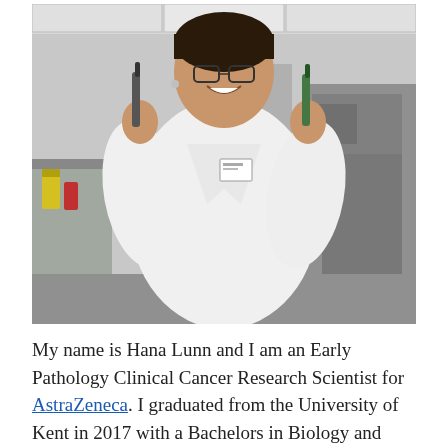[Figure (photo): A smiling woman in a white lab coat holding two pipettes in a laboratory setting. She wears glasses and a name badge. Lab equipment and benches are visible in the background.]
My name is Hana Lunn and I am an Early Pathology Clinical Cancer Research Scientist for AstraZeneca. I graduated from the University of Kent in 2017 with a Bachelors in Biology and went on to study a Clinical